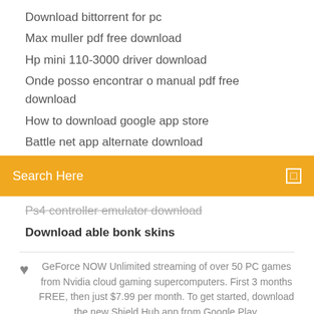Download bittorrent for pc
Max muller pdf free download
Hp mini 110-3000 driver download
Onde posso encontrar o manual pdf free download
How to download google app store
Battle net app alternate download
[Figure (screenshot): Orange/yellow search bar with text 'Search Here' and a small square search icon on the right]
Ps4 controller emulator download
Download able bonk skins
GeForce NOW Unlimited streaming of over 50 PC games from Nvidia cloud gaming supercomputers. First 3 months FREE, then just $7.99 per month. To get started, download the new Shield Hub app from Google Play.
[Figure (infographic): Row of social media icons: Facebook, Twitter, Dribbble, Behance]